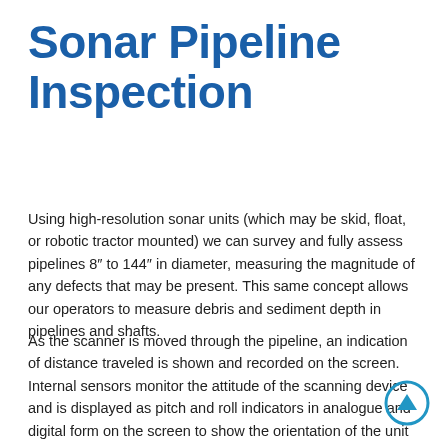Sonar Pipeline Inspection
Using high-resolution sonar units (which may be skid, float, or robotic tractor mounted) we can survey and fully assess pipelines 8″ to 144″ in diameter, measuring the magnitude of any defects that may be present. This same concept allows our operators to measure debris and sediment depth in pipelines and shafts.
As the scanner is moved through the pipeline, an indication of distance traveled is shown and recorded on the screen. Internal sensors monitor the attitude of the scanning device and is displayed as pitch and roll indicators in analogue and digital form on the screen to show the orientation of the unit...